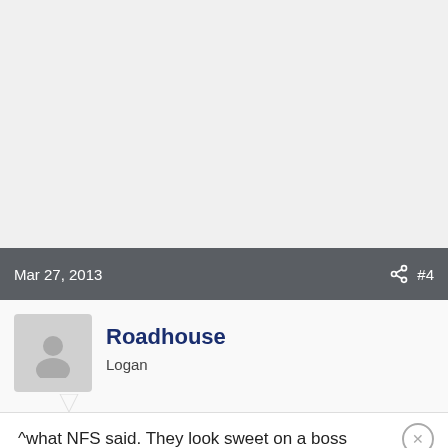Mar 27, 2013  #4
Roadhouse
Logan
^what NFS said. They look sweet on a boss